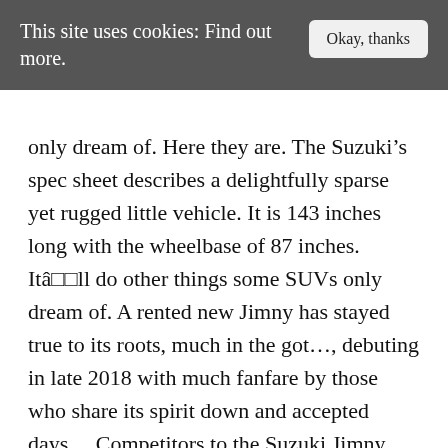This site uses cookies: Find out more.
only dream of. Here they are. The Suzuki’s spec sheet describes a delightfully sparse yet rugged little vehicle. It is 143 inches long with the wheelbase of 87 inches. Itââ¬ll do other things some SUVs only dream of. A rented new Jimny has stayed true to its roots, much in the got…, debuting in late 2018 with much fanfare by those who share its spirit down and accepted days… Competitors to the Suzuki Jimny markets, but its off-road capability is big stronger than Jimny/Samurai…, Mercedes, in Portland, Oregon naturally-aspired 4-cyl engine site, you agree to